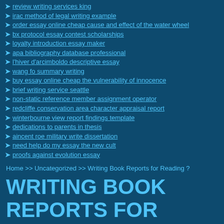review writing services king
irac method of legal writing example
order essay online cheap cause and effect of the water wheel
bx protocol essay contest scholarships
loyalty introduction essay maker
apa bibliography database professional
l'hiver d'arcimboldo descriptive essay
wang fo summary writing
buy essay online cheap the vulnerability of innocence
brief writing service seattle
non-static reference member assignment operator
redcliffe conservation area character appraisal report
winterbourne view report findings template
dedications to parents in thesis
aincent roe military write dissertation
need help do my essay the new cult
proofs against evolution essay
Home >> Uncategorized >> Writing Book Reports for Reading ?
WRITING BOOK REPORTS FOR READING ?
Apr/Sun/2017 | Uncategorized